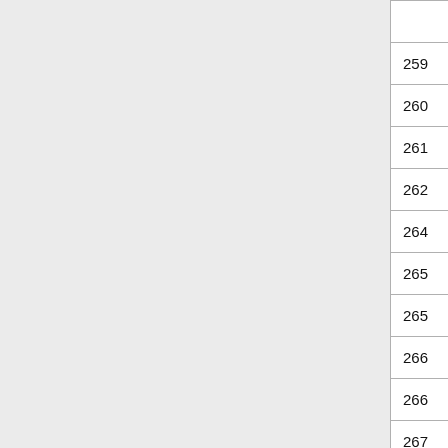|  | Name | Action | Effect |
| --- | --- | --- | --- |
|  | Ukulele of Pain |  | Giant Fr... |
| 259 | Black violin | Play |  |
| 260 | Violin | Play | Stringed music |
| 261 | Black violin | Play | Stringed music |
| 262 | Black violin | Play |  |
| 264 | Black violin | Play | Stringed music |
| 265 | Black violin | Play |  |
| 265 | Black violin | Play | Stringed music |
| 266 | Black violin | Serenade | Target w... Giant Fr... |
| 266 | Ukulele of Pain | Strum |  |
| 267 | Black violin | Serenade | Target w... Giant Fr... |
| 274 | Dark glossy lute | Strum |  |